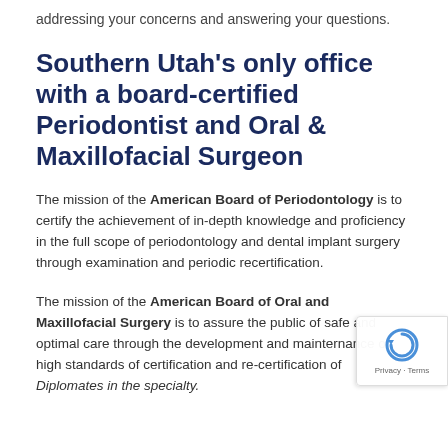addressing your concerns and answering your questions.
Southern Utah's only office with a board-certified Periodontist and Oral & Maxillofacial Surgeon
The mission of the American Board of Periodontology is to certify the achievement of in-depth knowledge and proficiency in the full scope of periodontology and dental implant surgery through examination and periodic recertification.
The mission of the American Board of Oral and Maxillofacial Surgery is to assure the public of safe and optimal care through the development and maintenance of high standards of certification and re-certification of Diplomates in the specialty.